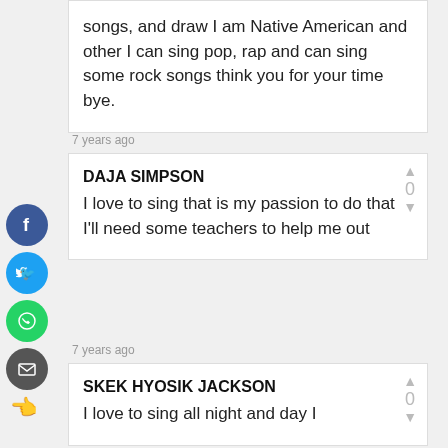songs, and draw I am Native American and other I can sing pop, rap and can sing some rock songs think you for your time bye.
7 years ago
DAJA SIMPSON
I love to sing that is my passion to do that
I'll need some teachers to help me out
7 years ago
SKEK HYOSIK JACKSON
I love to sing all night and day I